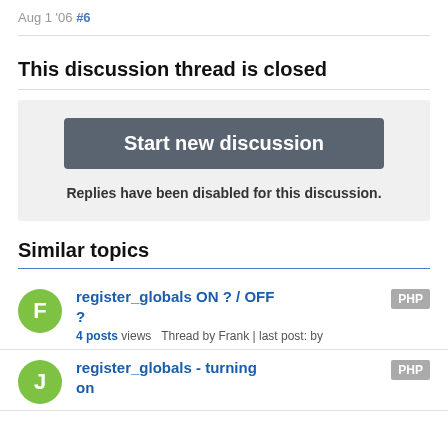Aug 1 '06 #6
This discussion thread is closed
Start new discussion
Replies have been disabled for this discussion.
Similar topics
register_globals ON ? / OFF ?  4 posts views  Thread by Frank | last post: by  PHP
register_globals - turning on  PHP